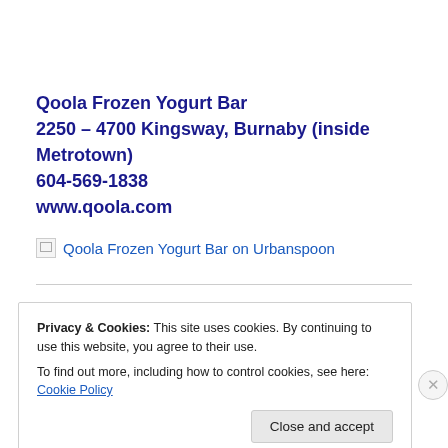Qoola Frozen Yogurt Bar
2250 – 4700 Kingsway, Burnaby (inside Metrotown)
604-569-1838
www.qoola.com
[Figure (other): Broken image link labeled 'Qoola Frozen Yogurt Bar on Urbanspoon']
Privacy & Cookies: This site uses cookies. By continuing to use this website, you agree to their use.
To find out more, including how to control cookies, see here: Cookie Policy